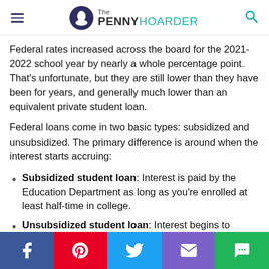The PENNY HOARDER
Federal rates increased across the board for the 2021-2022 school year by nearly a whole percentage point. That's unfortunate, but they are still lower than they have been for years, and generally much lower than an equivalent private student loan.
Federal loans come in two basic types: subsidized and unsubsidized. The primary difference is around when the interest starts accruing:
Subsidized student loan: Interest is paid by the Education Department as long as you're enrolled at least half-time in college.
Unsubsidized student loan: Interest begins to accrue as